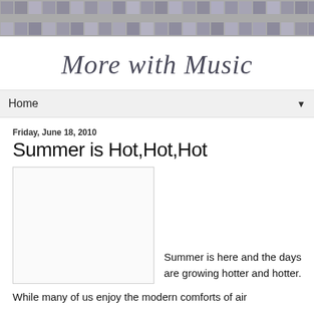[Figure (other): Decorative mosaic/tile header banner with gray and purple-tinted square tiles arranged in a grid pattern]
More with Music
Home ▼
Friday, June 18, 2010
Summer is Hot,Hot,Hot
[Figure (photo): Blank/white image placeholder with a light gray border]
Summer is here and the days are growing hotter and hotter.
While many of us enjoy the modern comforts of air